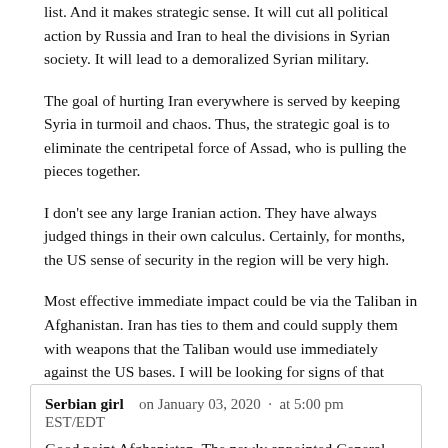list. And it makes strategic sense. It will cut all political action by Russia and Iran to heal the divisions in Syrian society. It will lead to a demoralized Syrian military.
The goal of hurting Iran everywhere is served by keeping Syria in turmoil and chaos. Thus, the strategic goal is to eliminate the centripetal force of Assad, who is pulling the pieces together.
I don't see any large Iranian action. They have always judged things in their own calculus. Certainly, for months, the US sense of security in the region will be very high.
Most effective immediate impact could be via the Taliban in Afghanistan. Iran has ties to them and could supply them with weapons that the Taliban would use immediately against the US bases. I will be looking for signs of that supply and the actions ramping up by the Taliban. MANPADS and missiles could severely take a significant toll on US forces.
Reply
Serbian girl   on January 03, 2020 · at 5:00 pm EST/EDT
Good point Afghanistan. The newly appointed General Ghaani